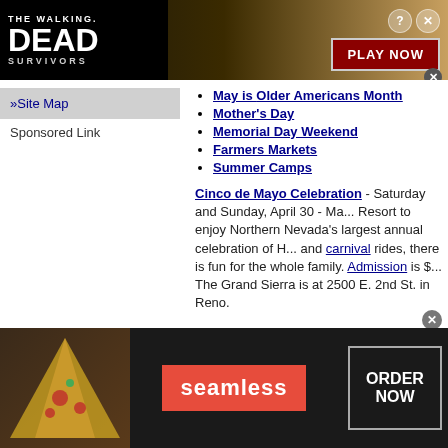[Figure (screenshot): The Walking Dead Survivors game banner advertisement with zombie image and PLAY NOW button]
May is Older Americans Month
Mother's Day
Memorial Day Weekend
Farmers Markets
Summer Camps
»Site Map
Sponsored Link
Cinco de Mayo Celebration - Saturday and Sunday, April 30 - Ma... Resort to enjoy Northern Nevada's largest annual celebration of H... and carnival rides, there is fun for the whole family. Admission is $... The Grand Sierra is at 2500 E. 2nd St. in Reno.
[Figure (screenshot): Seamless food delivery advertisement with pizza image, Seamless logo, and ORDER NOW button]